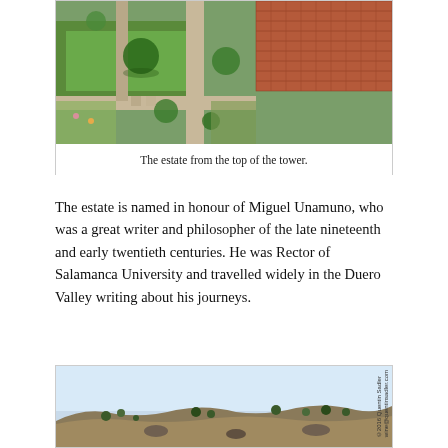[Figure (photo): Aerial view of an estate garden with green lawn, trees, pathways, and terracotta tile roof visible from the top of a tower.]
The estate from the top of the tower.
The estate is named in honour of Miguel Unamuno, who was a great writer and philosopher of the late nineteenth and early twentieth centuries. He was Rector of Salamanca University and travelled widely in the Duero Valley writing about his journeys.
[Figure (photo): Landscape photo of a hillside with sparse trees and scrubland under a clear blue sky, with a copyright watermark reading ©2016 Quentin Sadler wine@quentinsadler.com]